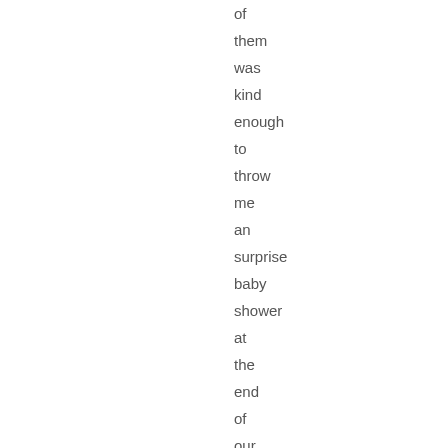of them was kind enough to throw me an surprise baby shower at the end of our last session